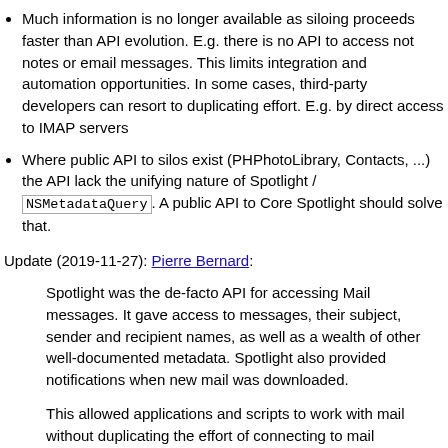Much information is no longer available as siloing proceeds faster than API evolution. E.g. there is no API to access not notes or email messages. This limits integration and automation opportunities. In some cases, third-party developers can resort to duplicating effort. E.g. by direct access to IMAP servers
Where public API to silos exist (PHPhotoLibrary, Contacts, ...) the API lack the unifying nature of Spotlight / NSMetadataQuery. A public API to Core Spotlight should solve that.
Update (2019-11-27): Pierre Bernard:
Spotlight was the de-facto API for accessing Mail messages. It gave access to messages, their subject, sender and recipient names, as well as a wealth of other well-documented metadata. Spotlight also provided notifications when new mail was downloaded.
This allowed applications and scripts to work with mail without duplicating the effort of connecting to mail